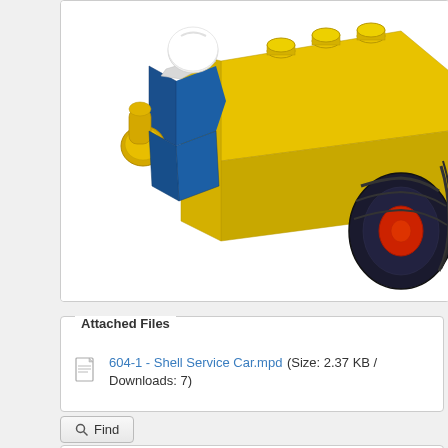[Figure (illustration): 3D rendered LEGO model showing a minifigure (blue torso, white helmet, yellow hands) next to a yellow vehicle/car with large dark tires and red wheel hubs]
Attached Files
604-1 - Shell Service Car.mpd (Size: 2.37 KB / Downloads: 7)
Find